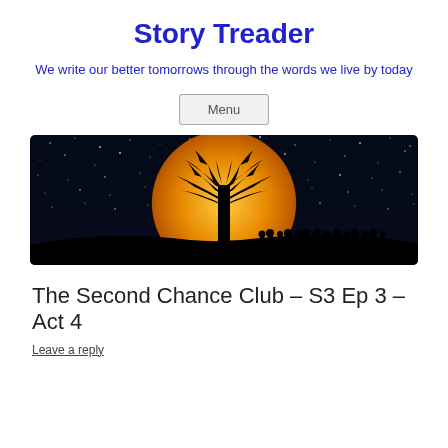Story Treader
We write our better tomorrows through the words we live by today
Menu
[Figure (illustration): A dramatic night sky scene with a large orange full moon behind a silhouetted bare tree, with silhouettes of people gathered beneath, and a starry dark blue sky background.]
The Second Chance Club – S3 Ep 3 – Act 4
Leave a reply